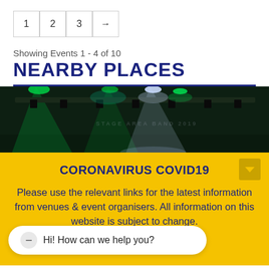1  2  3  →
Showing Events 1 - 4 of 10
NEARBY PLACES
[Figure (photo): Concert stage with green and white stage lights in dark venue]
CORONAVIRUS COVID19
Please use the relevant links for the latest information from venues & event organisers. All information on this website is subject to change.
Hi! How can we help you?